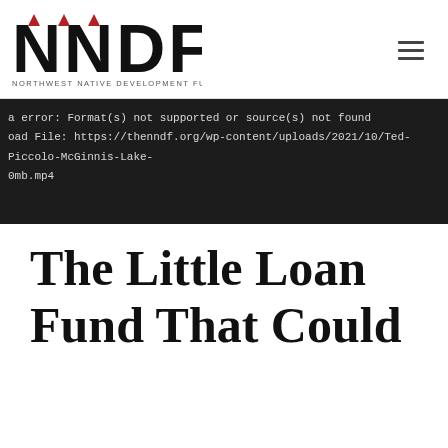[Figure (logo): NNDF (Northwest Native Development Fund) logo with stylized text and red triangle/arrow decorative elements, and tagline 'NORTHWEST NATIVE DEVELOPMENT FUND']
a error: Format(s) not supported or source(s) not found
oad File: https://thenndf.org/wp-content/uploads/2021/10/Ted-Piccolo-McGinnis-Lake-
0mb.mp4
The Little Loan Fund That Could